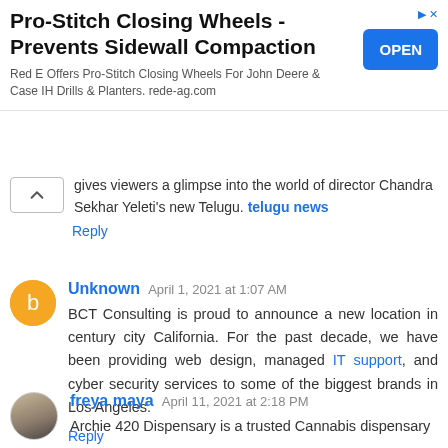[Figure (screenshot): Advertisement banner: Pro-Stitch Closing Wheels - Prevents Sidewall Compaction. Red E Offers Pro-Stitch Closing Wheels For John Deere & Case IH Drills & Planters. rede-ag.com. OPEN button on right.]
gives viewers a glimpse into the world of director Chandra Sekhar Yeleti's new Telugu. telugu news
Reply
Unknown April 1, 2021 at 1:07 AM
BCT Consulting is proud to announce a new location in century city California. For the past decade, we have been providing web design, managed IT support, and cyber security services to some of the biggest brands in Los Angeles.
Reply
freya maya April 11, 2021 at 2:18 PM
Archie 420 Dispensary is a trusted Cannabis dispensary